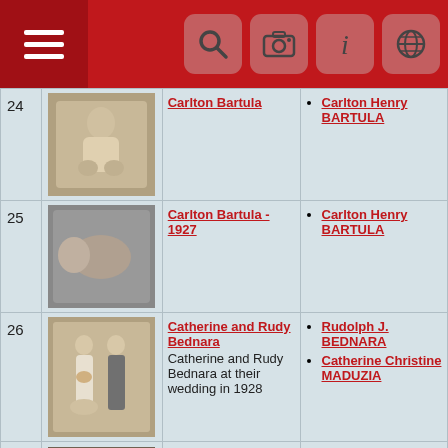Genealogy photo browser header with hamburger menu and search/camera/info/globe icons
| # | Photo | Description | People |
| --- | --- | --- | --- |
| 24 | [photo of Carlton Bartula] | Carlton Bartula | Carlton Henry BARTULA |
| 25 | [photo of infant Carlton Bartula 1927] | Carlton Bartula - 1927 | Carlton Henry BARTULA |
| 26 | [wedding photo] | Catherine and Rudy Bednara
Catherine and Rudy Bednara at their wedding in 1928 | Rudolph J. BEDNARA
Catherine Christine MADUZIA |
| 27 | [family photo] | Catherine Maduzia and Family
Catherine Marszalek Maduzia and Family; From left to right: Catherine Marszalek Maduzia, Mary | Joseph Frank MADUZIA, Jr.
Catherine MARSZALEK
Mary Louise POLKA |